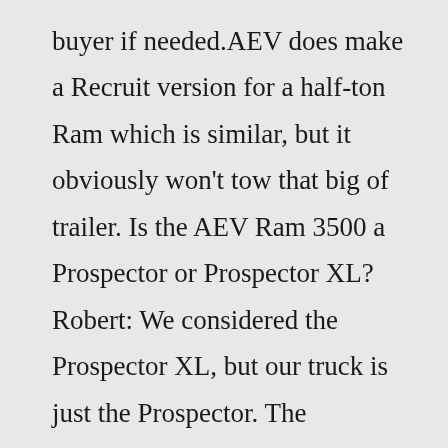buyer if needed.AEV does make a Recruit version for a half-ton Ram which is similar, but it obviously won't tow that big of trailer. Is the AEV Ram 3500 a Prospector or Prospector XL? Robert: We considered the Prospector XL, but our truck is just the Prospector. The Prospector XL has 40-inch tires and would not be a good choice for towing our show trailer.E-coated and powdercoated to maximum corrosion